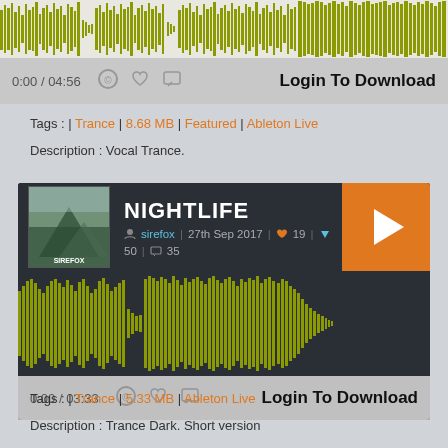[Figure (other): Audio waveform visualization in olive/yellow-green color at top of page]
0:00 / 04:56   Login To Download
Tags : | Trance | 8.68 MB | Featured | Ableton Live
Description : Vocal Trance.
[Figure (screenshot): NIGHTLIFE music track player card with album art, play button, waveform and controls. User: sirefox, Date: 27th Sep 2017, Likes: 19, Downloads: 50, Comments: 35]
0:00 / 03:33   Login To Download
Tags : | Trance | 5.33 MB | Ableton Live
Description : Trance Dark. Short version